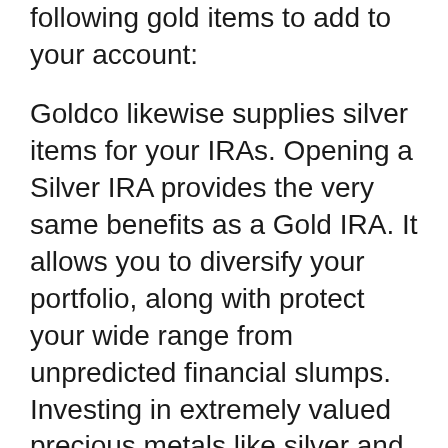following gold items to add to your account:
Goldco likewise supplies silver items for your IRAs. Opening a Silver IRA provides the very same benefits as a Gold IRA. It allows you to diversify your portfolio, along with protect your wide range from unpredicted financial slumps. Investing in extremely valued precious metals like silver and gold is a clever option for your financial investment.
If you invest in silver, you can add more rare-earth elements to your Individual Retirement Account with the same financial investment quantity because the metal is reasonably more affordable to purchase.
According to Internal Revenue Service